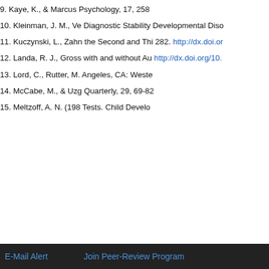9. Kaye, K., & Marcus Psychology, 17, 258
10. Kleinman, J. M., Ve Diagnostic Stability Developmental Diso
11. Kuczynski, L., Zahn the Second and Thi 282. http://dx.doi.or
12. Landa, R. J., Gross with and without Au http://dx.doi.org/10.
13. Lord, C., Rutter, M. Angeles, CA: Weste
14. McCabe, M., & Uzg Quarterly, 29, 69-82
15. Meltzoff, A. N. (198 Tests. Child Develo
Top
ABSTRACT
Introduction
Method
Results
Discussion
E-Mail Alert    Join Peer-Review Program